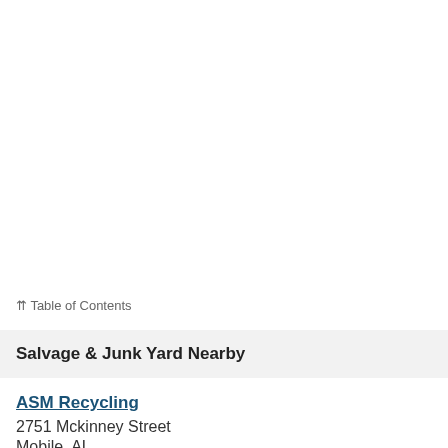⇈ Table of Contents
Salvage & Junk Yard Nearby
ASM Recycling
2751 Mckinney Street
Mobile, AL